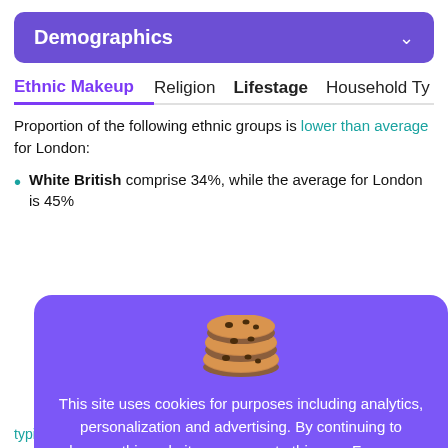Demographics
Ethnic Makeup   Religion   Lifestage   Household Ty
Proportion of the following ethnic groups is lower than average for London:
White British comprise 34%, while the average for London is 45%
[Figure (screenshot): Cookie consent modal with cookie emoji, message about site using cookies for analytics, personalization and advertising, and a 'Got it' button]
typical to the average for London figures.